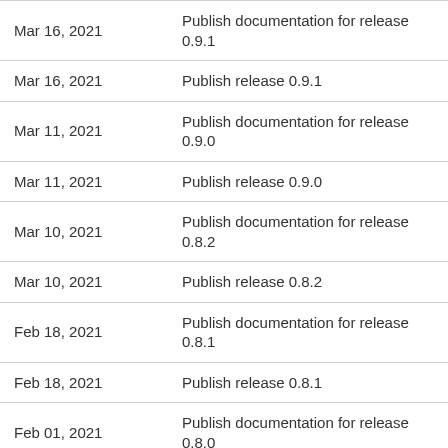| Date | Description |
| --- | --- |
| Mar 16, 2021 | Publish documentation for release 0.9.1 |
| Mar 16, 2021 | Publish release 0.9.1 |
| Mar 11, 2021 | Publish documentation for release 0.9.0 |
| Mar 11, 2021 | Publish release 0.9.0 |
| Mar 10, 2021 | Publish documentation for release 0.8.2 |
| Mar 10, 2021 | Publish release 0.8.2 |
| Feb 18, 2021 | Publish documentation for release 0.8.1 |
| Feb 18, 2021 | Publish release 0.8.1 |
| Feb 01, 2021 | Publish documentation for release 0.8.0 |
| Feb 01, 2021 | Publish release 0.8.0 |
| Jan 31, 2021 | Publish documentation for release 0.7.2 |
| Jan 30, 2021 | Publish documentation for release 0.7.2 |